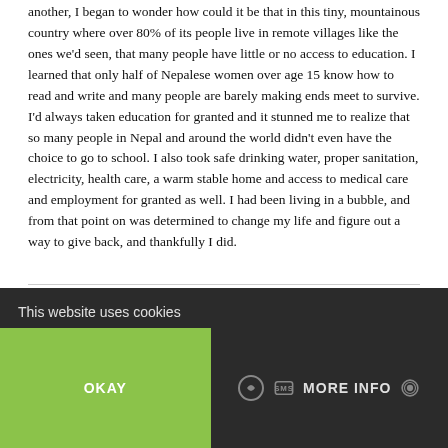another, I began to wonder how could it be that in this tiny, mountainous country where over 80% of its people live in remote villages like the ones we'd seen, that many people have little or no access to education. I learned that only half of Nepalese women over age 15 know how to read and write and many people are barely making ends meet to survive.

I'd always taken education for granted and it stunned me to realize that so many people in Nepal and around the world didn't even have the choice to go to school. I also took safe drinking water, proper sanitation, electricity, health care, a warm stable home and access to medical care and employment for granted as well. I had been living in a bubble, and from that point on was determined to change my life and figure out a way to give back, and thankfully I did.
This website uses cookies
OKAY
MORE INFO